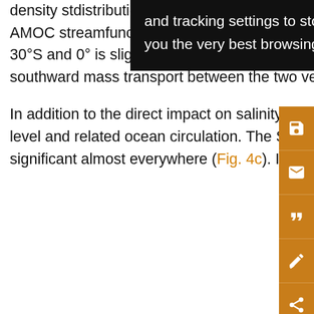density st... distribution... (Fig. 7) are sim... erm mean stre... out 23.5 Sv w... Figs 7b and 9b). The core of the AMOC streamfunction at 50°N is slightly stronger in the VSF version, but the mass exchange at 30°S and 0° is slightly weaker than in the FWF version. This may be due to the difference in the northward/southward mass transport between the two versions (shown later).

In addition to the direct impact on salinity, the VSF formulation influences the simulations of sea level and related ocean circulation. The SSH difference between the two versions is statistically significant almost everywhere (Fig. 4c). In the VSF version, SSH is higher in the low
[Figure (screenshot): Cookie/tracking settings tooltip overlay with text: 'and tracking settings to store information that help give you the very best browsing experience.']